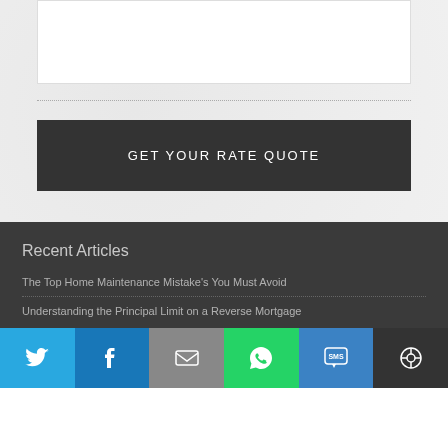GET YOUR RATE QUOTE
Recent Articles
The Top Home Maintenance Mistake's You Must Avoid
Understanding the Principal Limit on a Reverse Mortgage